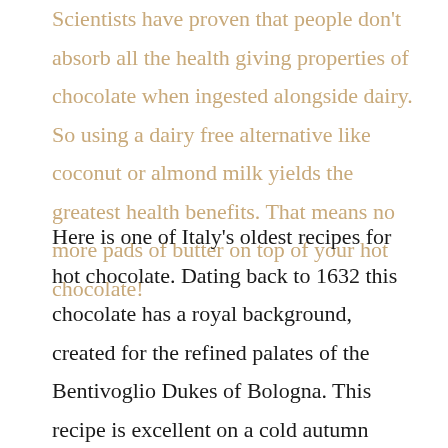Scientists have proven that people don't absorb all the health giving properties of chocolate when ingested alongside dairy. So using a dairy free alternative like coconut or almond milk yields the greatest health benefits. That means no more pads of butter on top of your hot chocolate!
Here is one of Italy's oldest recipes for hot chocolate. Dating back to 1632 this chocolate has a royal background, created for the refined palates of the Bentivoglio Dukes of Bologna. This recipe is excellent on a cold autumn morning to help take the chill off the day. With a wonderful citrusy lift from the orange zest and a rich punch of chocolate, this recipe has stood the test of time, and for good reason.